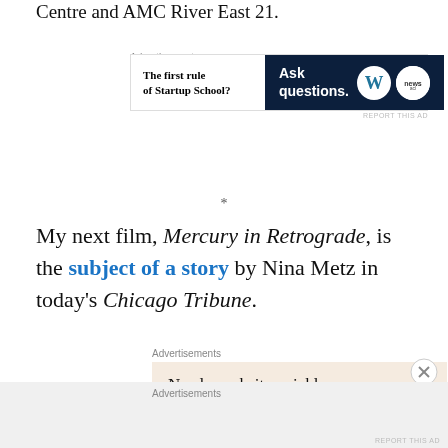Centre and AMC River East 21.
Advertisements
[Figure (other): Advertisement banner: 'The first rule of Startup School?' on left white panel, 'Ask questions.' text with WordPress and news logos on dark navy right panel.]
*
My next film, Mercury in Retrograde, is the subject of a story by Nina Metz in today's Chicago Tribune.
Advertisements
[Figure (other): Advertisement: 'Need a website quickly – and on a budget? Let us build it for you' on a light beige background.]
Advertisements